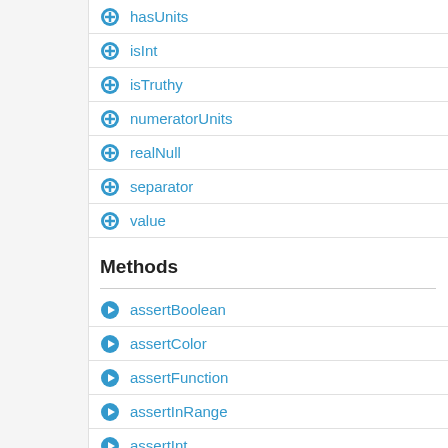hasUnits
isInt
isTruthy
numeratorUnits
realNull
separator
value
Methods
assertBoolean
assertColor
assertFunction
assertInRange
assertInt
assertMap
assertNoUnits
assertNumber
assertString